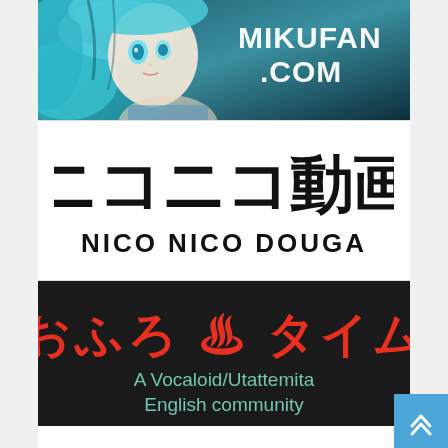[Figure (illustration): Anime character with teal/blue hair and blue eyes, text overlay reading MIKUFAN.COM in white letters]
[Figure (logo): Nico Nico Douga logo: Japanese characters ニコニコ動画 in bold black with NICO NICO DOUGA in bold black below on white background]
[Figure (illustration): おふろ タイム banner on dark background with red Japanese text, hot spring emoji, and teal subtitle A Vocaloid/Utattemita English community]